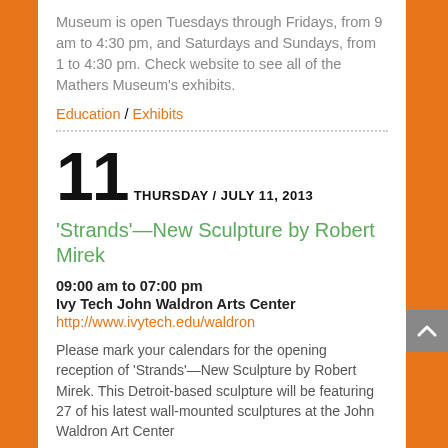Museum is open Tuesdays through Fridays, from 9 am to 4:30 pm, and Saturdays and Sundays, from 1 to 4:30 pm. Check website to see all of the Mathers Museum's exhibits.
Education / Exhibits
11 THURSDAY / JULY 11, 2013
'Strands'—New Sculpture by Robert Mirek
09:00 am to 07:00 pm
Ivy Tech John Waldron Arts Center
http://www.ivytech.edu/waldron
Please mark your calendars for the opening reception of 'Strands'—New Sculpture by Robert Mirek. This Detroit-based sculpture will be featuring 27 of his latest wall-mounted sculptures at the John Waldron Art Center